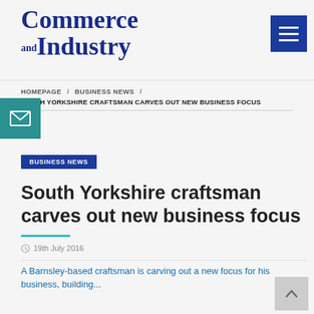Commerce and Industry
HOMEPAGE / BUSINESS NEWS / SOUTH YORKSHIRE CRAFTSMAN CARVES OUT NEW BUSINESS FOCUS
BUSINESS NEWS
South Yorkshire craftsman carves out new business focus
19th July 2016
A Barnsley-based craftsman is carving out a new focus for his business, building...